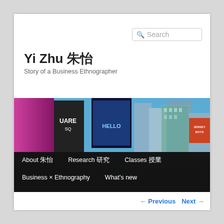Search
Yi Zhu 朱怡
Story of a Business Ethnographer
[Figure (photo): Times Square New York City street scene with tall buildings, billboards and signage including 'SQUARE', 'HELLO', 'Jersey Boys'; blue sky background]
About 朱怡
Research 研究
Classes 授業
Business × Ethnography
What's new
← Previous  Next →